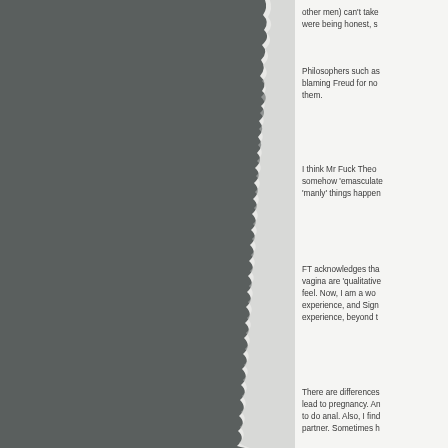[Figure (photo): Left half of page showing a dark grey torn/rough textured surface or background, with a ragged torn paper edge on the right side of the image.]
other men)  can't take were being honest, s
Philosophers such as blaming Freud for no them.
I think Mr Fuck Theo somehow 'emasculate 'manly' things happen
FT acknowledges tha vagina are 'qualitative feel.  Now,  I am a wo experience, and Sign experience, beyond t
There are differences lead to pregnancy. An to do anal. Also, I find partner. Sometimes h